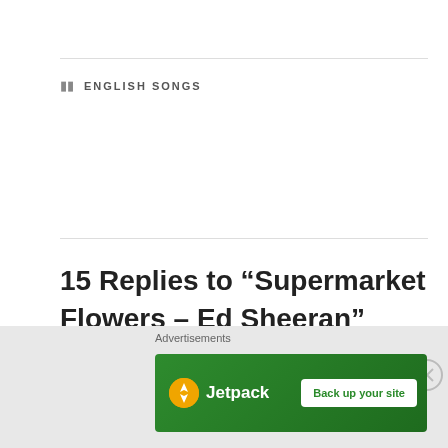ENGLISH SONGS
15 Replies to “Supermarket Flowers – Ed Sheeran”
[Figure (illustration): User avatar for Jayk, a decorative geometric pattern with red/brown diamond shapes on white background.]
Jayk
DECEMBER 25, 2017 AT 11:56 AM
Why aren’t your sheets free anymore? you were the best free source for good sheets..i’ve been following for a long time...
Advertisements
[Figure (screenshot): Jetpack advertisement banner with green background, Jetpack logo on left, and white 'Back up your site' button on right.]